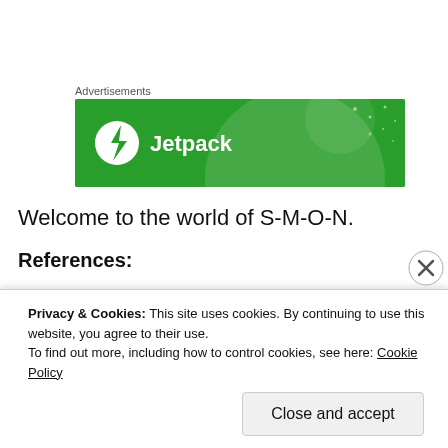Advertisements
[Figure (logo): Jetpack advertisement banner — green background with a white circle containing a lightning bolt icon and the text 'Jetpack']
Welcome to the world of S-M-O-N.
References:
Privacy & Cookies: This site uses cookies. By continuing to use this website, you agree to their use.
To find out more, including how to control cookies, see here: Cookie Policy
Close and accept